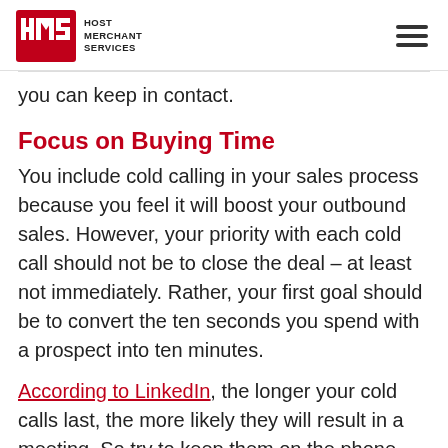HOST MERCHANT SERVICES
you can keep in contact.
Focus on Buying Time
You include cold calling in your sales process because you feel it will boost your outbound sales. However, your priority with each cold call should not be to close the deal – at least not immediately. Rather, your first goal should be to convert the ten seconds you spend with a prospect into ten minutes.
According to LinkedIn, the longer your cold calls last, the more likely they will result in a meeting. So try to keep them on the phone with you by keeping them